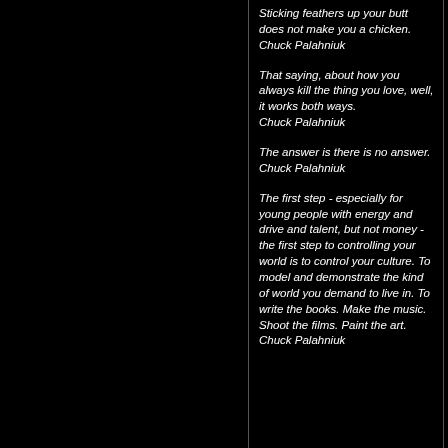Sticking feathers up your butt does not make you a chicken.
Chuck Palahniuk
That saying, about how you always kill the thing you love, well, it works both ways.
Chuck Palahniuk
The answer is there is no answer.
Chuck Palahniuk
The first step - especially for young people with energy and drive and talent, but not money - the first step to controlling your world is to control your culture. To model and demonstrate the kind of world you demand to live in. To write the books. Make the music. Shoot the films. Paint the art.
Chuck Palahniuk